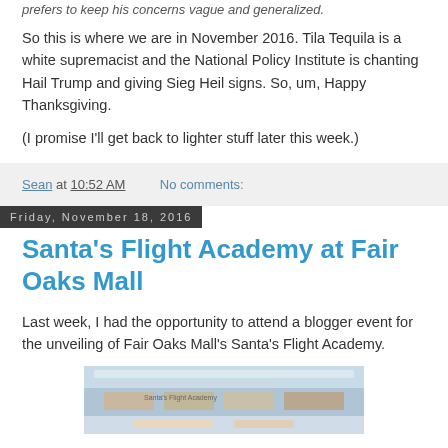prefers to keep his concerns vague and generalized.
So this is where we are in November 2016. Tila Tequila is a white supremacist and the National Policy Institute is chanting Hail Trump and giving Sieg Heil signs. So, um, Happy Thanksgiving.
(I promise I'll get back to lighter stuff later this week.)
Sean at 10:52 AM    No comments:
Friday, November 18, 2016
Santa's Flight Academy at Fair Oaks Mall
Last week, I had the opportunity to attend a blogger event for the unveiling of Fair Oaks Mall's Santa's Flight Academy.
[Figure (photo): Interior photo of Fair Oaks Mall Santa's Flight Academy display, showing mall interior with decorations and signage.]